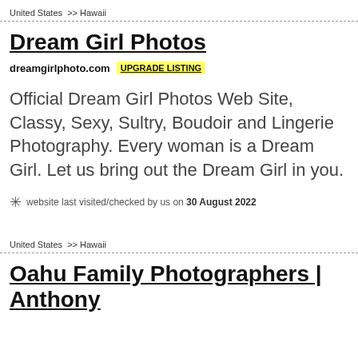United States  >> Hawaii
Dream Girl Photos
dreamgirlphoto.com   UPGRADE LISTING
Official Dream Girl Photos Web Site, Classy, Sexy, Sultry, Boudoir and Lingerie Photography. Every woman is a Dream Girl. Let us bring out the Dream Girl in you.
website last visited/checked by us on 30 August 2022
United States  >> Hawaii
Oahu Family Photographers | Anthony